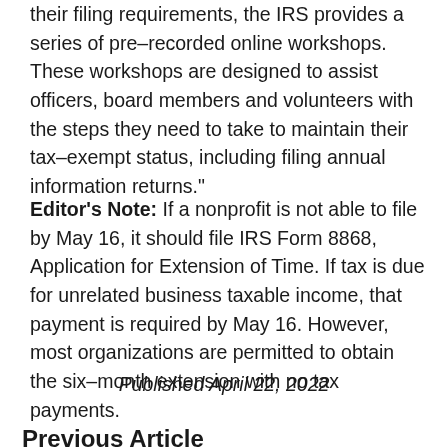their filing requirements, the IRS provides a series of pre–recorded online workshops. These workshops are designed to assist officers, board members and volunteers with the steps they need to take to maintain their tax–exempt status, including filing annual information returns."
Editor's Note: If a nonprofit is not able to file by May 16, it should file IRS Form 8868, Application for Extension of Time. If tax is due for unrelated business taxable income, that payment is required by May 16. However, most organizations are permitted to obtain the six–month extension with no tax payments.
Published April 22, 2022
Previous Article